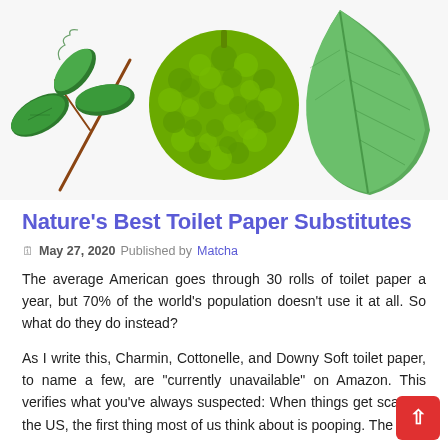[Figure (photo): Three plant images side by side: serrated green leaves on a branch (left), a green bumpy round fruit like an osage orange (center), and a large smooth green leaf (right), on white background.]
Nature’s Best Toilet Paper Substitutes
🗓 May 27, 2020 Published by Matcha
The average American goes through 30 rolls of toilet paper a year, but 70% of the world’s population doesn’t use it at all. So what do they do instead?
As I write this, Charmin, Cottonelle, and Downy Soft toilet paper, to name a few, are “currently unavailable” on Amazon. This verifies what you’ve always suspected: When things get scary in the US, the first thing most of us think about is pooping. The